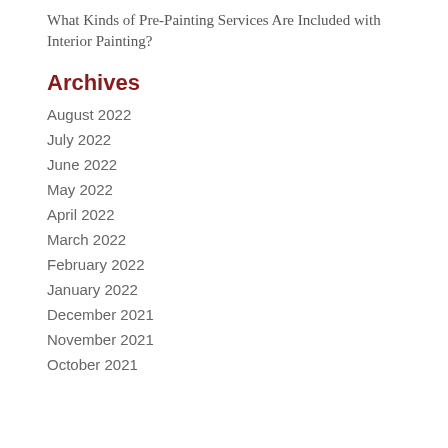What Kinds of Pre-Painting Services Are Included with Interior Painting?
Archives
August 2022
July 2022
June 2022
May 2022
April 2022
March 2022
February 2022
January 2022
December 2021
November 2021
October 2021